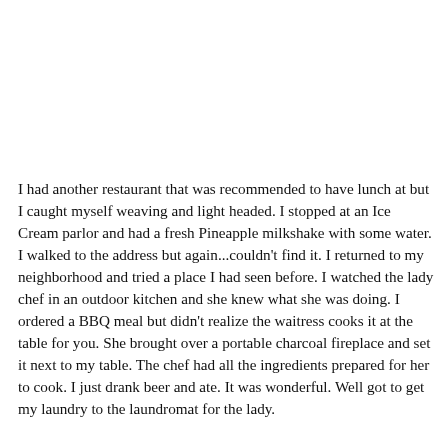I had another restaurant that was recommended to have lunch at but I caught myself weaving and light headed.  I stopped at an Ice Cream parlor and had a fresh Pineapple milkshake with some water.  I walked to the address but again...couldn't find it.  I returned to my neighborhood and tried a place I had seen before.  I watched the lady chef in an outdoor kitchen and she knew what she was doing.  I ordered a BBQ meal but didn't realize the waitress cooks it at the table for you.  She brought over a portable charcoal fireplace and set it next to my table.  The chef had all the ingredients prepared for her to cook.  I just drank beer and ate.  It was wonderful.   Well got to get my laundry to the laundromat for the lady.